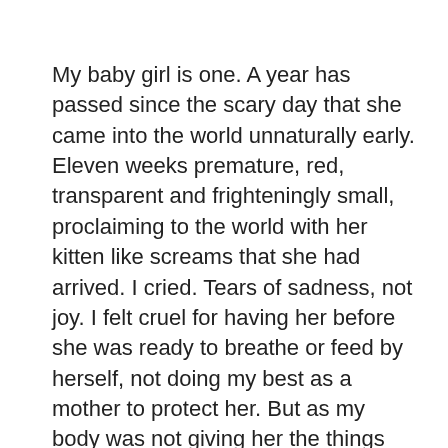My baby girl is one. A year has passed since the scary day that she came into the world unnaturally early. Eleven weeks premature, red, transparent and frighteningly small, proclaiming to the world with her kitten like screams that she had arrived. I cried. Tears of sadness, not joy. I felt cruel for having her before she was ready to breathe or feed by herself, not doing my best as a mother to protect her. But as my body was not giving her the things that she needed to survive in utero, it was time for her to brave the big wide world and show us her true strength.
And show us she has. I have marveled at her constant tenacity and unyeilding inquisitiveness for life. Her small stature has in no way affected her